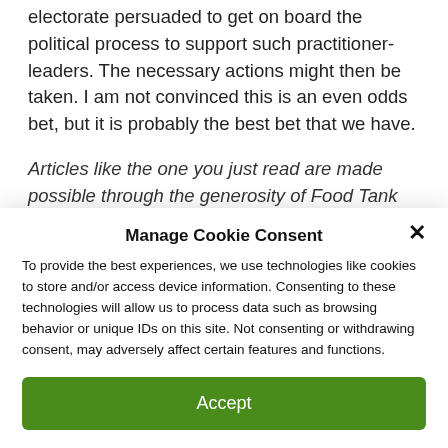sense of urgency will return, with a majority of the electorate persuaded to get on board the political process to support such practitioner-leaders. The necessary actions might then be taken. I am not convinced this is an even odds bet, but it is probably the best bet that we have.
Articles like the one you just read are made possible through the generosity of Food Tank
Manage Cookie Consent
To provide the best experiences, we use technologies like cookies to store and/or access device information. Consenting to these technologies will allow us to process data such as browsing behavior or unique IDs on this site. Not consenting or withdrawing consent, may adversely affect certain features and functions.
Accept